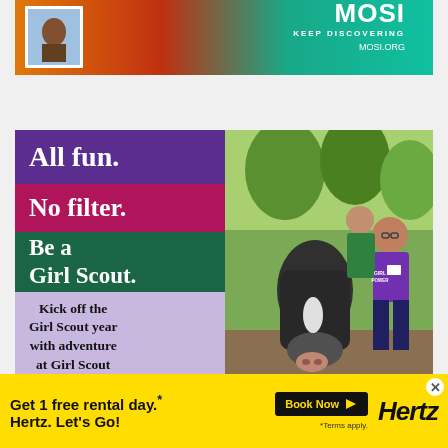[Figure (illustration): MOSI museum advertisement banner with orange/teal gradient and stamp image. Text: MOSI, KEEP DISCOVERING, MOSI.ORG]
[Figure (illustration): Girl Scout advertisement with colored panels: purple 'All fun.', magenta 'No filter.', green 'Be a Girl Scout.', lavender 'Kick off the Girl Scout year with adventure at Girl Scout Fest!' alongside photo of girls with horse.]
[Figure (illustration): Partial 'BEST' advertisement with teal bar and bordered text on dark background.]
[Figure (illustration): Hertz car rental advertisement on yellow background: 'Get 1 free rental day.* Hertz. Let’s Go! *Terms apply.' with Book Now button and Hertz logo.]